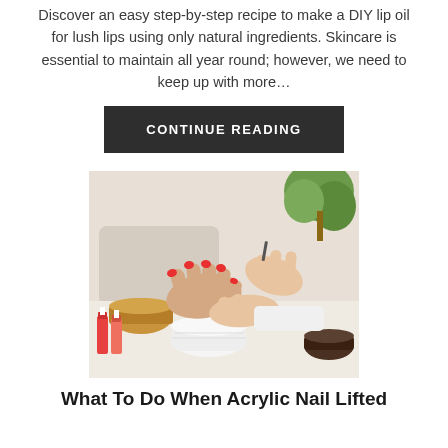Discover an easy step-by-step recipe to make a DIY lip oil for lush lips using only natural ingredients. Skincare is essential to maintain all year round; however, we need to keep up with more...
CONTINUE READING
[Figure (photo): A nail technician painting red nail polish on a client's nails at a salon table with nail polish bottles, a rolled towel, and a bowl in the background.]
What To Do When Acrylic Nail Lifted